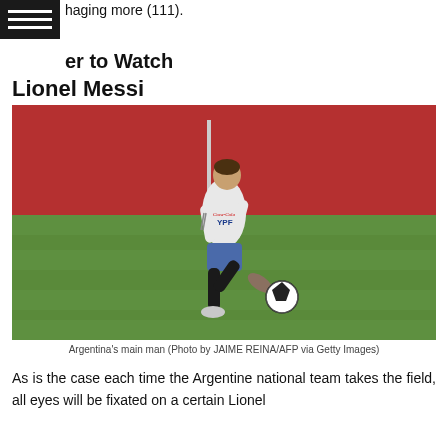haging more (111).
er to Watch
Lionel Messi
[Figure (photo): Lionel Messi in Argentina training kit kicking a football on a grass training pitch with a red wall in the background]
Argentina's main man (Photo by JAIME REINA/AFP via Getty Images)
As is the case each time the Argentine national team takes the field, all eyes will be fixated on a certain Lionel